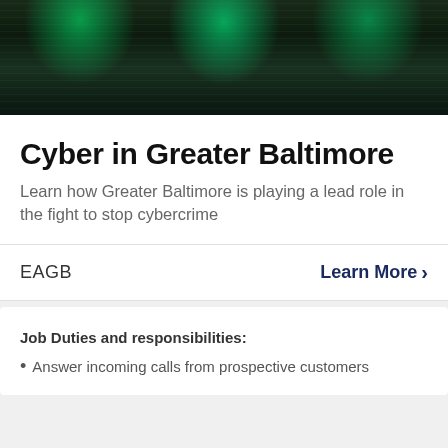[Figure (photo): Dark background with three green glowing spotlights or fiber optic light sources creating a dramatic bokeh effect]
Cyber in Greater Baltimore
Learn how Greater Baltimore is playing a lead role in the fight to stop cybercrime
EAGB
Learn More >
Job Duties and responsibilities:
Answer incoming calls from prospective customers